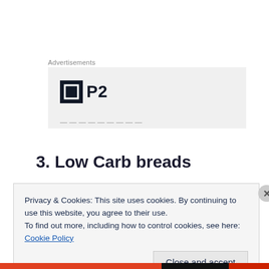Advertisements
[Figure (logo): Advertisement box with a dark square icon containing a white square outline and 'P2' text logo on a light grey background, partially cropped at bottom showing faint text]
3. Low Carb breads
Privacy & Cookies: This site uses cookies. By continuing to use this website, you agree to their use.
To find out more, including how to control cookies, see here: Cookie Policy
Close and accept